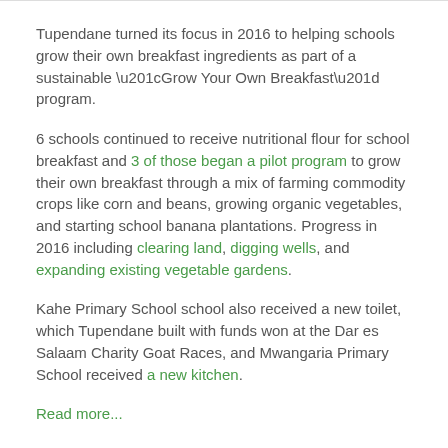Tupendane turned its focus in 2016 to helping schools grow their own breakfast ingredients as part of a sustainable “Grow Your Own Breakfast” program.
6 schools continued to receive nutritional flour for school breakfast and 3 of those began a pilot program to grow their own breakfast through a mix of farming commodity crops like corn and beans, growing organic vegetables, and starting school banana plantations. Progress in 2016 including clearing land, digging wells, and expanding existing vegetable gardens.
Kahe Primary School school also received a new toilet, which Tupendane built with funds won at the Dar es Salaam Charity Goat Races, and Mwangaria Primary School received a new kitchen.
Read more...